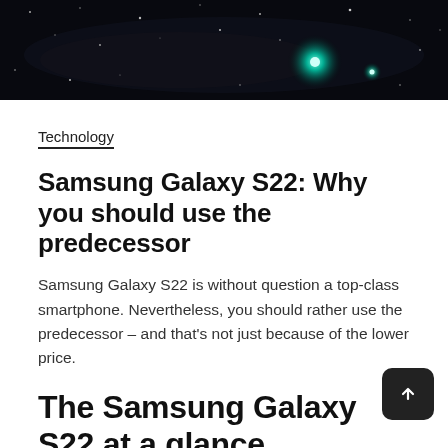[Figure (photo): Dark space/night sky background image with stars and a green teal glowing celestial body]
Technology
Samsung Galaxy S22: Why you should use the predecessor
Samsung Galaxy S22 is without question a top-class smartphone. Nevertheless, you should rather use the predecessor – and that's not just because of the lower price.
The Samsung Galaxy S22 at a glance
The Samsung Galaxy S22 is one of the new flagship